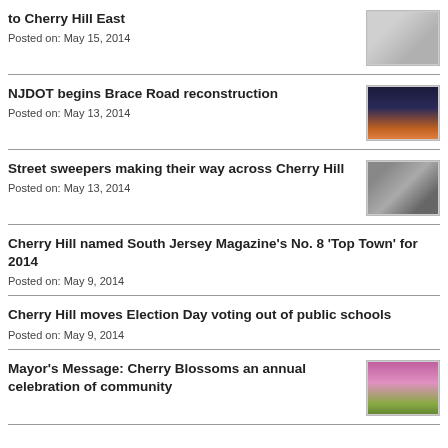to Cherry Hill East
Posted on: May 15, 2014
[Figure (photo): Small thumbnail photo of a vehicle, possibly a street sweeper or police car]
NJDOT begins Brace Road reconstruction
Posted on: May 13, 2014
[Figure (photo): Night road scene with car headlights and traffic on a wet road]
Street sweepers making their way across Cherry Hill
Posted on: May 13, 2014
[Figure (photo): Close-up of a street sweeper brush or machinery]
Cherry Hill named South Jersey Magazine's No. 8 'Top Town' for 2014
Posted on: May 9, 2014
Cherry Hill moves Election Day voting out of public schools
Posted on: May 9, 2014
Mayor's Message: Cherry Blossoms an annual celebration of community
[Figure (photo): Cherry blossom trees with pink flowers along a street]